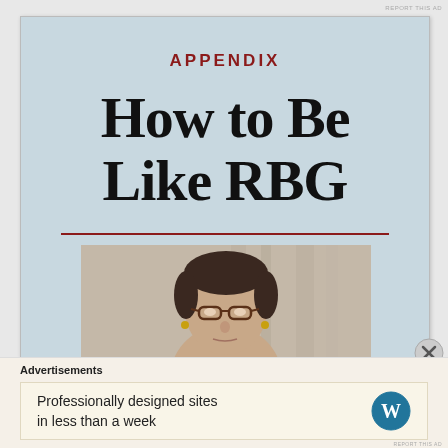REPORT THIS AD
APPENDIX
How to Be Like RBG
[Figure (photo): Black and white photograph of Ruth Bader Ginsburg wearing glasses, facing slightly downward, with curtains in the background]
Advertisements
Professionally designed sites in less than a week
REPORT THIS AD